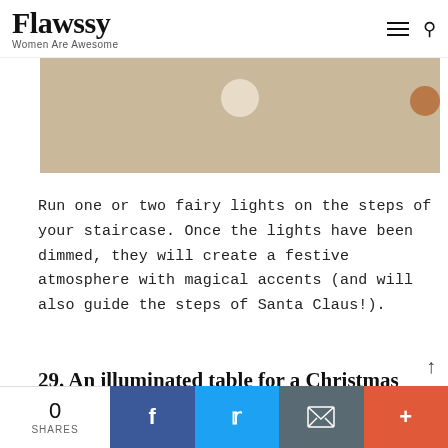Flawssy — Women Are Awesome
[Figure (photo): Overhead view of decorative objects (white shell-shaped ornament, copper sphere, white rounded object) on a light wooden surface]
Run one or two fairy lights on the steps of your staircase. Once the lights have been dimmed, they will create a festive atmosphere with magical accents (and will also guide the steps of Santa Claus!).
29. An illuminated table for a Christmas atmosphere
[Figure (photo): Bottom portion of a Christmas-themed room photo, partially visible]